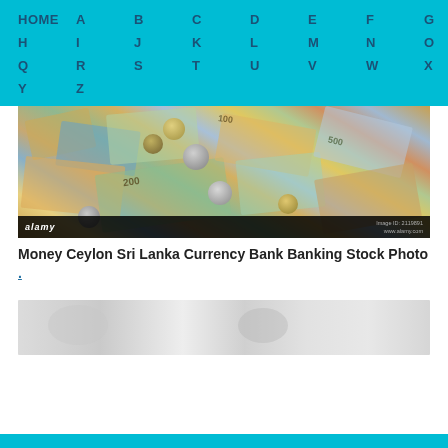HOME A B C D E F G H I J K L M N O P Q R S T U V W X Y Z
[Figure (photo): Photo of Sri Lanka currency — scattered banknotes (200, 500, 100 rupee notes) and coins on a surface. Alamy stock photo watermark visible at bottom.]
Money Ceylon Sri Lanka Currency Bank Banking Stock Photo .